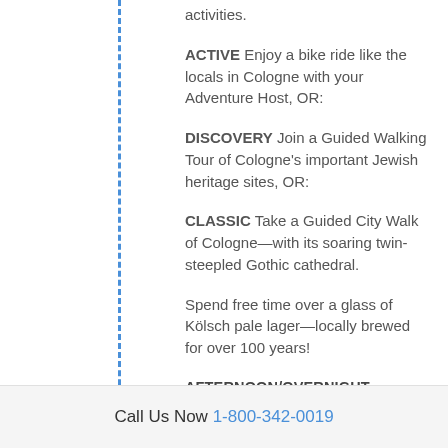activities.
ACTIVE Enjoy a bike ride like the locals in Cologne with your Adventure Host, OR:
DISCOVERY Join a Guided Walking Tour of Cologne's important Jewish heritage sites, OR:
CLASSIC Take a Guided City Walk of Cologne—with its soaring twin-steepled Gothic cathedral.
Spend free time over a glass of Kölsch pale lager—locally brewed for over 100 years!
AFTERNOON/OVERNIGHT CRUISE TO AMSTERDAM
(B,L,D)
Meals: Breakfast Lunch Dinner
Call Us Now 1-800-342-0019